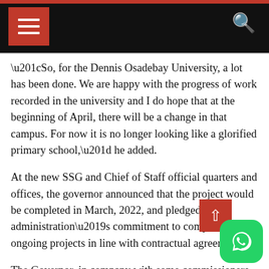Navigation header with hamburger menu and search icon
“So, for the Dennis Osadebay University, a lot has been done. We are happy with the progress of work recorded in the university and I do hope that at the beginning of April, there will be a change in that campus. For now it is no longer looking like a glorified primary school,” he added.
At the new SSG and Chief of Staff official quarters and offices, the governor announced that the project would be completed in March, 2022, and pledged his administration’s commitment to completing all ongoing projects in line with contractual agreement.
The Governor, in company with some commissioners, was conducted round the projects by the project